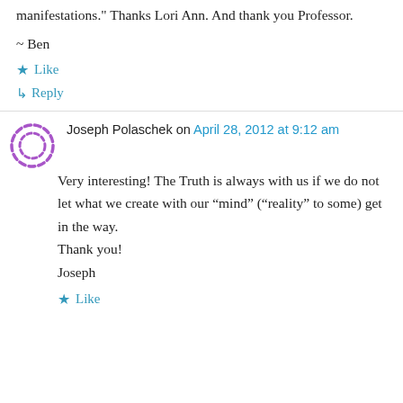manifestations." Thanks Lori Ann. And thank you Professor.
~ Ben
★ Like
↳ Reply
Joseph Polaschek on April 28, 2012 at 9:12 am
Very interesting! The Truth is always with us if we do not let what we create with our “mind” (“reality” to some) get in the way.
Thank you!
Joseph
★ Like